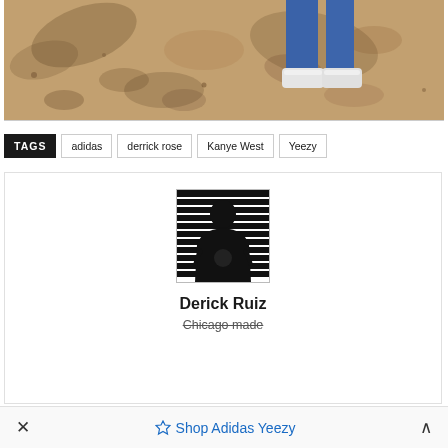[Figure (photo): Bottom portion of a person's legs wearing blue jeans and white sneakers standing on a dirt/gravel ground with dappled light shadows.]
TAGS  adidas  derrick rose  Kanye West  Yeezy
[Figure (photo): Author profile avatar photo of a person's silhouette against a black and white striped background.]
Derick Ruiz
Chicago made
Shop Adidas Yeezy